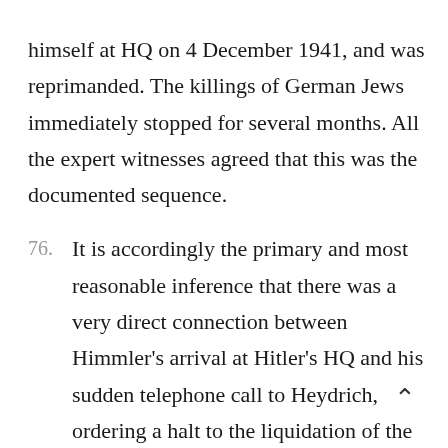himself at HQ on 4 December 1941, and was reprimanded. The killings of German Jews immediately stopped for several months. All the expert witnesses agreed that this was the documented sequence.
76. It is accordingly the primary and most reasonable inference that there was a very direct connection between Himmler's arrival at Hitler's HQ and his sudden telephone call to Heydrich, ordering a halt to the liquidation of the Berlin Jews.
77. As to 5.94, Irving was entitled heavily to discount Wisliceny's ex post facto guess work. Wisliceny (a mass murderer, who was hanged after the war for his crimes) is